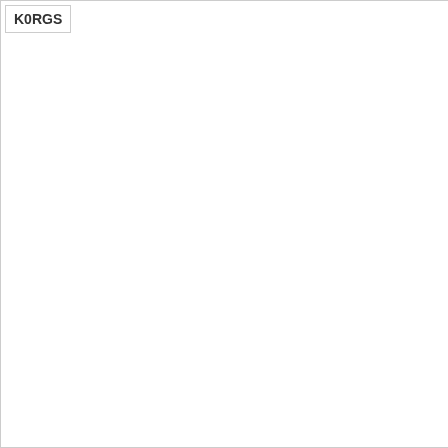K0RGS
Topic / Topic starter
by K7OF » Tue, 2010/03/30 -
WSPR and CAT Control
by G4UJS » Sat, 2009/07/18
WSPR and Python
by oe1msb » Fri, 2013/04/05
WSPR algorithm ???
by N9UYC » Sat, 2016/04/02
WSPR algorithm
by SP5NVX » Tue, 2013/12/3
WSPR Activity List errors
by G0IMX » Mon, 2010/03/29
WSPR activity days?
by KB9AMG » Mon, 2011/09
WSPR aborts on new even m